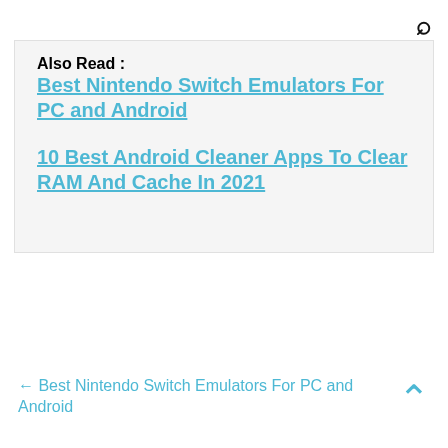Also Read :
Best Nintendo Switch Emulators For PC and Android
10 Best Android Cleaner Apps To Clear RAM And Cache In 2021
← Best Nintendo Switch Emulators For PC and Android